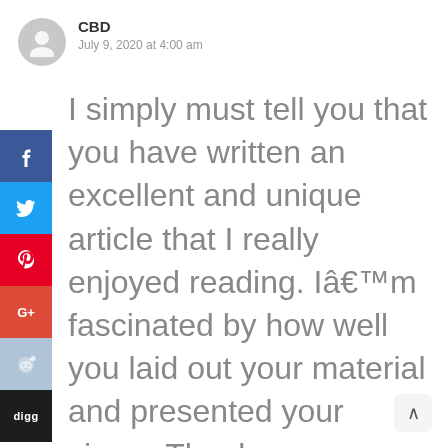[Figure (illustration): User avatar icon — grey circular silhouette of a person]
CBD
July 9, 2020 at 4:00 am
I simply must tell you that you have written an excellent and unique article that I really enjoyed reading. Iâ€™m fascinated by how well you laid out your material and presented your views. Thank you.
[Figure (infographic): Social media share buttons sidebar: Facebook (blue, f), Twitter (light blue, bird), Pinterest (red, p), Google+ (red-orange, G+), Reddit (light blue, alien icon), Digg (black, digg text)]